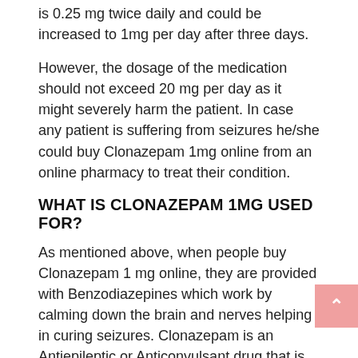is 0.25 mg twice daily and could be increased to 1mg per day after three days.
However, the dosage of the medication should not exceed 20 mg per day as it might severely harm the patient. In case any patient is suffering from seizures he/she could buy Clonazepam 1mg online from an online pharmacy to treat their condition.
WHAT IS CLONAZEPAM 1MG USED FOR?
As mentioned above, when people buy Clonazepam 1 mg online, they are provided with Benzodiazepines which work by calming down the brain and nerves helping in curing seizures. Clonazepam is an Antiepileptic or Anticonvulsant drug that is used to control seizures and treat panic attacks.
WHERE TO BUY CLONAZEPAM ONLINE?